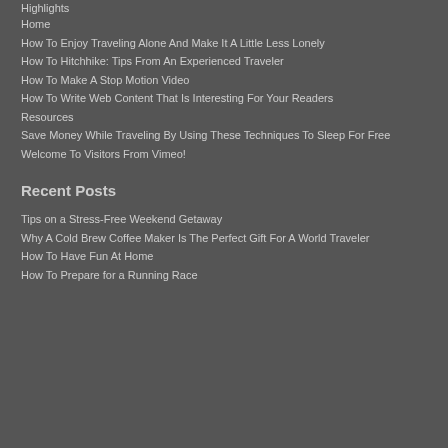Highlights
Home
How To Enjoy Traveling Alone And Make It A Little Less Lonely
How To Hitchhike: Tips From An Experienced Traveler
How To Make A Stop Motion Video
How To Write Web Content That Is Interesting For Your Readers
Resources
Save Money While Traveling By Using These Techniques To Sleep For Free
Welcome To Visitors From Vimeo!
Recent Posts
Tips on a Stress-Free Weekend Getaway
Why A Cold Brew Coffee Maker Is The Perfect Gift For A World Traveler
How To Have Fun At Home
How To Prepare for a Running Race